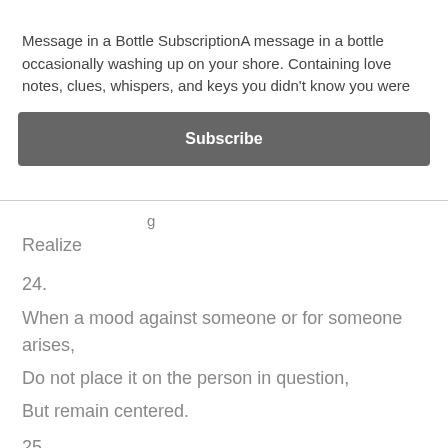Message in a Bottle SubscriptionA message in a bottle occasionally washing up on your shore. Containing love notes, clues, whispers, and keys you didn't know you were
Subscribe
Realize
24.
When a mood against someone or for someone arises,
Do not place it on the person in question,
But remain centered.
25.
Just as you have the impulse
To do something,
Stop.